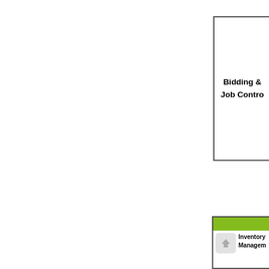[Figure (flowchart): Partial organizational/flowchart diagram showing boxes for 'Bidding & Job Control', a green-header module box for 'Inventory Management' (with an up-arrow scroll icon overlay), and 'Purchasing'. The left portion of the page is blank white, and all boxes are cut off on the right side.]